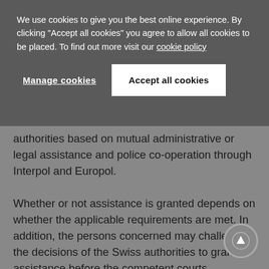We use cookies to give you the best online experience. By clicking "Accept all cookies" you agree to allow all cookies to be placed. To find out more visit our cookie policy
Manage cookies | Accept all cookies
authorities based on mutual administrative or legal assistance and police co-operation through Interpol and Europol.
Whether or not assistance is granted depends on whether the applicable requirements are met. In addition, the persons concerned may challenge the decisions of the Swiss authorities to grant assistance before the competent courts.